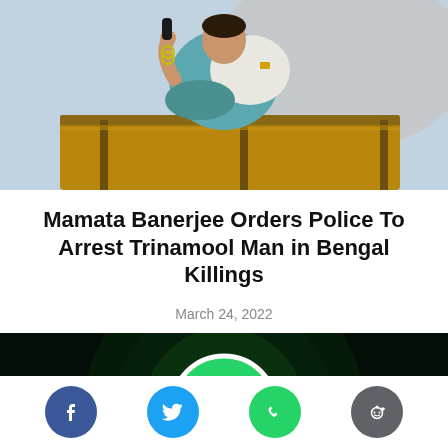[Figure (photo): Woman speaking at a podium, holding a microphone, wearing a teal and white outfit with bangles]
Mamata Banerjee Orders Police To Arrest Trinamool Man in Bengal Killings
March 24, 2022
[Figure (photo): Dark background with a glowing WhatsApp logo (green circle with white phone handset icon)]
[Figure (infographic): Social media share buttons: Facebook, Twitter, WhatsApp, Reddit]